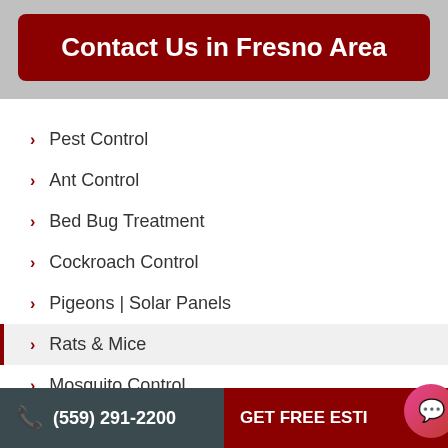Contact Us in Fresno Area
Pest Control
Ant Control
Bed Bug Treatment
Cockroach Control
Pigeons | Solar Panels
Rats & Mice
Mosquito Control
(559) 291-2200  GET FREE ESTI...